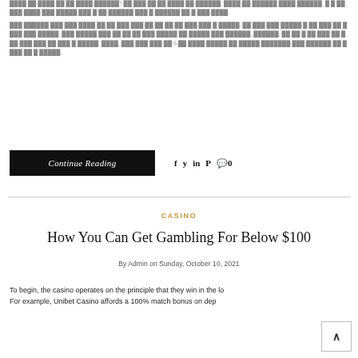[Korean text paragraph 1 - truncated at top of page]
[Korean text paragraph 2 with reference to 6]
Continue Reading
social icons: f, twitter, in, pinterest, comment 0
CASINO
How You Can Get Gambling For Below $100
By Admin on Sunday, October 10, 2021
To begin, the casino operates on the principle that they win in the lo... For example, Unibet Casino affords a 100% match bonus on dep...